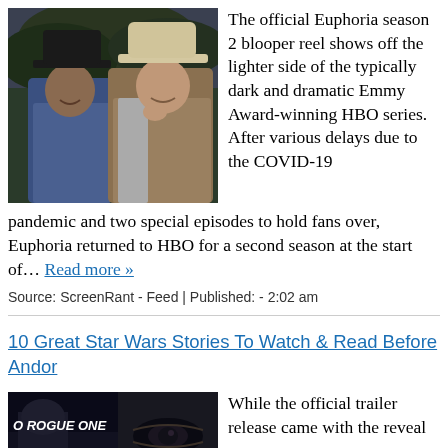[Figure (photo): Two people wearing cowboy hats smiling, from Euphoria season 2]
The official Euphoria season 2 blooper reel shows off the lighter side of the typically dark and dramatic Emmy Award-winning HBO series. After various delays due to the COVID-19 pandemic and two special episodes to hold fans over, Euphoria returned to HBO for a second season at the start of… Read more »
Source: ScreenRant - Feed | Published: - 2:02 am
10 Great Star Wars Stories To Watch & Read Before Andor
[Figure (photo): Dark scene with text 'O ROGUE ONE' and a close-up of an eye, from Andor/Rogue One]
While the official trailer release came with the reveal